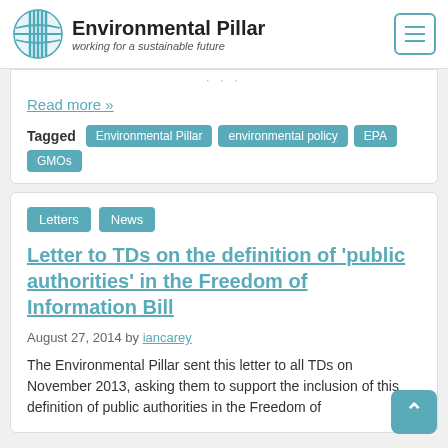Environmental Pillar — working for a sustainable future
Read more »
Tagged: Environmental Pillar, environmental policy, EPA, GMOs
Letters  News
Letter to TDs on the definition of 'public authorities' in the Freedom of Information Bill
August 27, 2014 by iancarey
The Environmental Pillar sent this letter to all TDs on November 2013, asking them to support the inclusion of this definition of public authorities in the Freedom of